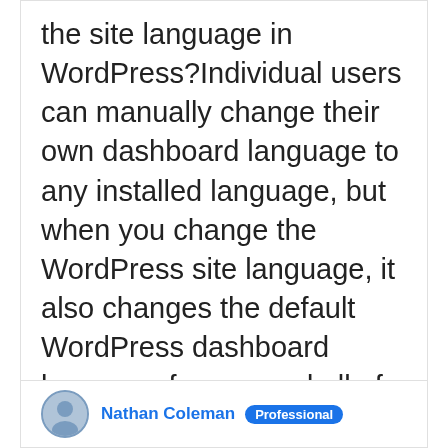the site language in WordPress?Individual users can manually change their own dashboard language to any installed language, but when you change the WordPress site language, it also changes the default WordPress dashboard language for you and all of your visitors.How do I change the default language in Gtranslate plugin?Create a CNAME record for yourdomain.com to point to our server and change the default language from yourdomain.com to en.yourdomain.com.What programming language is WordPress?PHP is a programming language that was used to create WordPress, but you are not required…
Nathan Coleman
Professional